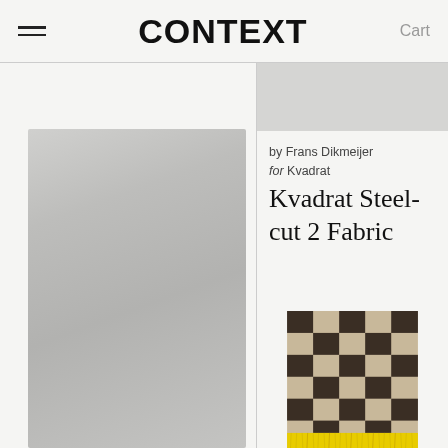CONTEXT   Cart
[Figure (photo): Gray fabric/textile swatch, partially cropped, light gray uniform texture]
[Figure (photo): Light gray fabric image strip at top of right column]
by Frans Dikmeijer
for Kvadrat
Kvadrat Steel-cut 2 Fabric
[Figure (photo): Checkered dark brown and beige fabric/rug with yellow fringe at bottom edge]